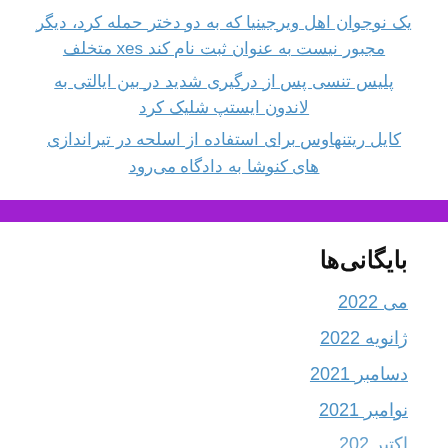یک نوجوان اهل ویرجینیا که به دو دختر حمله کرد، دیگر مجبور نیست به عنوان ثبت نام کند sex متخلف
پلیس تنسی پس از درگیری شدید در بین ایالتی به لاندون ایستپ شلیک کرد
کایل ریتنهاوس برای استفاده از اسلحه در تیراندازی های کنوشا به دادگاه می‌رود
بایگانی‌ها
می 2022
ژانویه 2022
دسامبر 2021
نوامبر 2021
اکتبر 2020